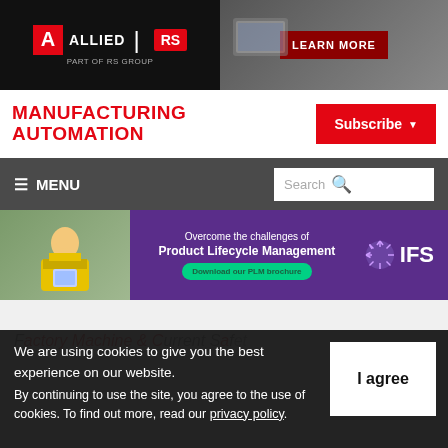[Figure (illustration): Allied Electronics & Automation / RS Components advertisement banner with logo and LEARN MORE button]
MANUFACTURING AUTOMATION
Subscribe
≡ MENU   Search
[Figure (illustration): IFS advertisement banner: Overcome the challenges of Product Lifecycle Management. Download our PLM brochure.]
Factory Machine & Current Safety
We are using cookies to give you the best experience on our website.
By continuing to use the site, you agree to the use of cookies.
To find out more, read our privacy policy.